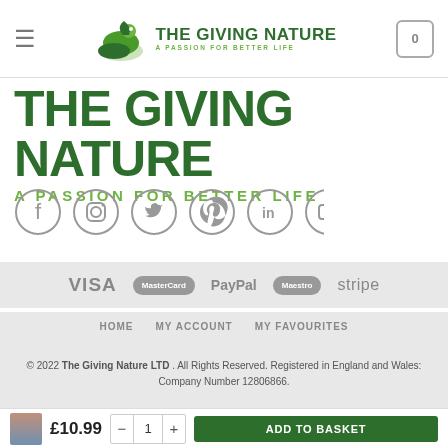THE GIVING NATURE — A PASSION FOR BETTER LIFE
THE GIVING NATURE
A PASSION FOR BETTER LIFE
[Figure (illustration): Row of social media icons: Facebook, Instagram, Twitter, Pinterest, LinkedIn, YouTube — all in grey circle outlines]
[Figure (illustration): Payment method logos in grey: VISA, MasterCard, PayPal, Maestro, stripe]
HOME   MY ACCOUNT   MY FAVOURITES
© 2022 The Giving Nature LTD . All Rights Reserved. Registered in England and Wales: Company Number 12806866.
£10.99  -  1  +  ADD TO BASKET